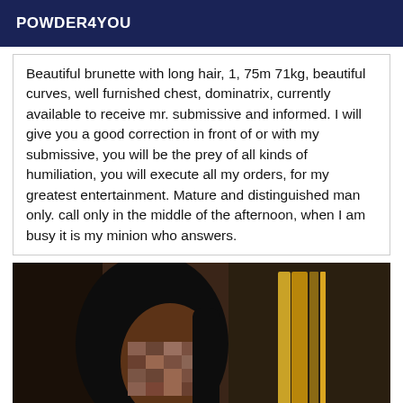POWDER4YOU
Beautiful brunette with long hair, 1, 75m 71kg, beautiful curves, well furnished chest, dominatrix, currently available to receive mr. submissive and informed. I will give you a good correction in front of or with my submissive, you will be the prey of all kinds of humiliation, you will execute all my orders, for my greatest entertainment. Mature and distinguished man only. call only in the middle of the afternoon, when I am busy it is my minion who answers.
[Figure (photo): Photo of a woman with long dark hair, face pixelated/blurred, wearing a pearl necklace, gold-framed mirror or artwork visible in background.]